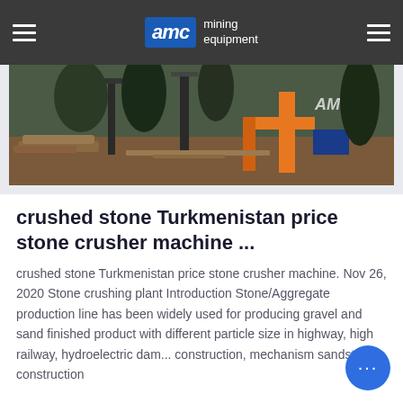AMC mining equipment
[Figure (photo): Mining equipment site photo showing drilling rigs, orange structural frame with AMC branding, machinery and timber on ground in outdoor setting]
crushed stone Turkmenistan price stone crusher machine ...
crushed stone Turkmenistan price stone crusher machine. Nov 26, 2020 Stone crushing plant Introduction Stone/Aggregate production line has been widely used for producing gravel and sand finished product with different particle size in highway, high railway, hydroelectric dam... construction, mechanism sandstone, construction